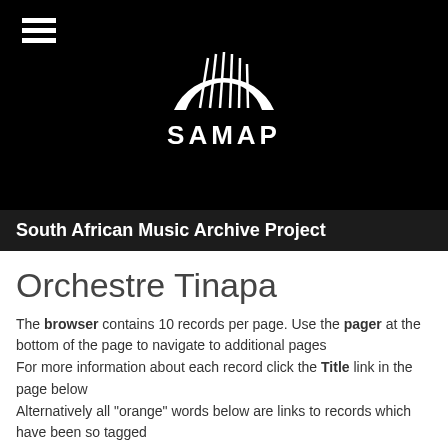[Figure (logo): SAMAP logo: white semicircle arch with vertical lines (harp strings) on black background, with text SAMAP below]
South African Music Archive Project
Orchestre Tinapa
The browser contains 10 records per page. Use the pager at the bottom of the page to navigate to additional pages
For more information about each record click the Title link in the page below
Alternatively all "orange" words below are links to records which have been so tagged
Amina ...